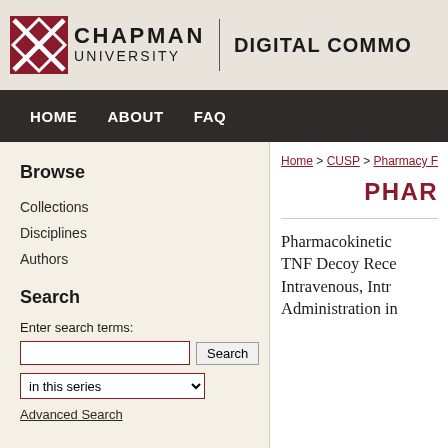[Figure (logo): Chapman University Digital Commons logo with red asterisk/diamond icon]
HOME   ABOUT   FAQ
Home > CUSP > Pharmacy Facu...
PHAR
Browse
Collections
Disciplines
Authors
Search
Enter search terms:
in this series
Advanced Search
Pharmacokinetic TNF Decoy Rece Intravenous, Intr Administration in